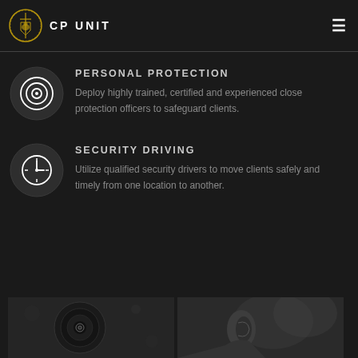CP UNIT
PERSONAL PROTECTION
Deploy highly trained, certified and experienced close protection officers to safeguard clients.
SECURITY DRIVING
Utilize qualified security drivers to move clients safely and timely from one location to another.
[Figure (photo): Two grayscale photos at the bottom: left shows a close-up of a camera or lens with bokeh, right shows a man's ear and side profile in soft focus.]